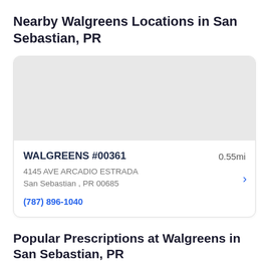Nearby Walgreens Locations in San Sebastian, PR
[Figure (map): Gray map placeholder showing a map area for the Walgreens location]
WALGREENS #00361
4145 AVE ARCADIO ESTRADA
San Sebastian , PR 00685
(787) 896-1040
0.55mi
Popular Prescriptions at Walgreens in San Sebastian, PR
Losartan Potassium
Tablet, 25 Mg, 15 Tablets
$8.17